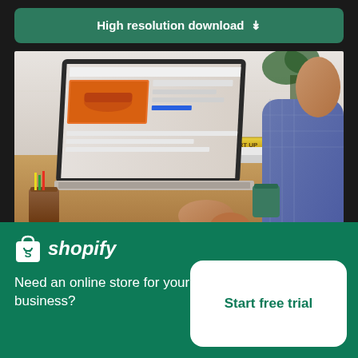High resolution download ↓
[Figure (photo): Person working on a laptop at a wooden desk with books, cups, and a plant in the background]
[Figure (logo): Shopify logo — shopping bag icon with letter S and the word shopify in italic bold white text]
Need an online store for your business?
Start free trial